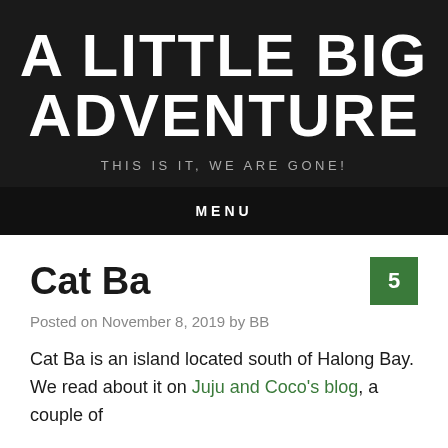A LITTLE BIG ADVENTURE
THIS IS IT, WE ARE GONE!
MENU
Cat Ba
Posted on November 8, 2019 by BB
Cat Ba is an island located south of Halong Bay. We read about it on Juju and Coco's blog, a couple of